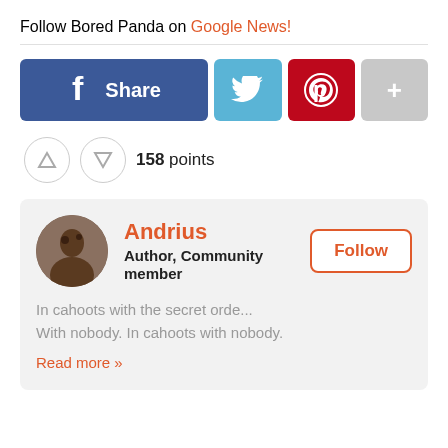Follow Bored Panda on Google News!
[Figure (infographic): Social sharing buttons row: Facebook Share (blue), Twitter bird (light blue), Pinterest logo (dark red), plus/more button (gray)]
158 points
Andrius
Author, Community member
In cahoots with the secret orde...
With nobody. In cahoots with nobody.
Read more »